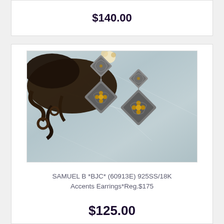$140.00
[Figure (photo): Photo of Samuel B ornate sterling silver and 18K gold accent drop earrings with diamond-shaped filigree panels, hanging against a dark decorative branch and light blue marble background.]
SAMUEL B *BJC* (60913E) 925SS/18K Accents Earrings*Reg.$175
$125.00